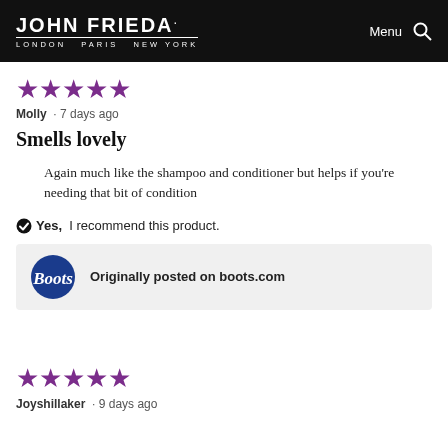JOHN FRIEDA. LONDON PARIS NEW YORK | Menu [search]
[Figure (other): 5 purple stars rating]
Molly · 7 days ago
Smells lovely
Again much like the shampoo and conditioner but helps if you're needing that bit of condition
✔ Yes, I recommend this product.
Originally posted on boots.com
[Figure (other): 5 purple stars rating]
Joyshillaker · 9 days ago